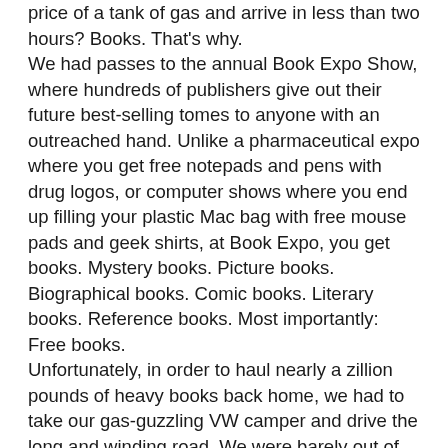price of a tank of gas and arrive in less than two hours? Books. That's why.
We had passes to the annual Book Expo Show, where hundreds of publishers give out their future best-selling tomes to anyone with an outreached hand. Unlike a pharmaceutical expo where you get free notepads and pens with drug logos, or computer shows where you end up filling your plastic Mac bag with free mouse pads and geek shirts, at Book Expo, you get books. Mystery books. Picture books. Biographical books. Comic books. Literary books. Reference books. Most importantly: Free books.
Unfortunately, in order to haul nearly a zillion pounds of heavy books back home, we had to take our gas-guzzling VW camper and drive the long and winding road. We were barely out of the driveway before we turned into the Bickersons. No subject was too small to argue about—where to stop for gas, what to eat for dinner, when to change drivers, why we didn't fly.
Luckily, bickering helps the time fly by, and we found ourselves in freeway-congested LA in less than six hours. After bickering about what time to head for the convention center, we joined the “feeding frenzy” of other book lovers